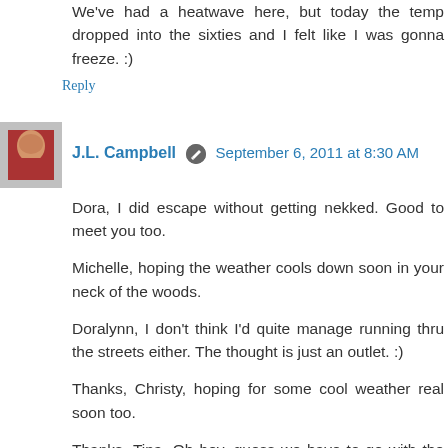We've had a heatwave here, but today the temp dropped into the sixties and I felt like I was gonna freeze. :)
Reply
J.L. Campbell  September 6, 2011 at 8:30 AM
Dora, I did escape without getting nekked. Good to meet you too.
Michelle, hoping the weather cools down soon in your neck of the woods.
Doralynn, I don't think I'd quite manage running thru the streets either. The thought is just an outlet. :)
Thanks, Christy, hoping for some cool weather real soon too.
Thanks, Tina. Oh boy, guess we have to go with the flow when the weather goes up and down.
Reply